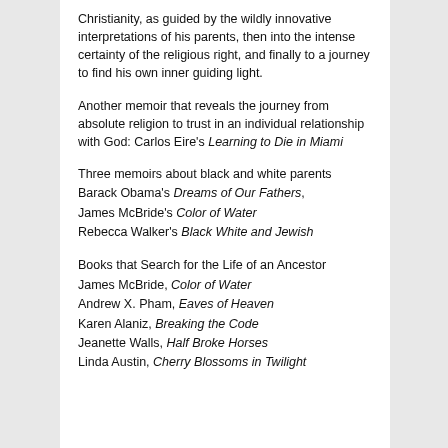Christianity, as guided by the wildly innovative interpretations of his parents, then into the intense certainty of the religious right, and finally to a journey to find his own inner guiding light.
Another memoir that reveals the journey from absolute religion to trust in an individual relationship with God: Carlos Eire’s Learning to Die in Miami
Three memoirs about black and white parents
Barack Obama’s Dreams of Our Fathers,
James McBride’s Color of Water
Rebecca Walker’s Black White and Jewish
Books that Search for the Life of an Ancestor
James McBride, Color of Water
Andrew X. Pham, Eaves of Heaven
Karen Alaniz, Breaking the Code
Jeanette Walls, Half Broke Horses
Linda Austin, Cherry Blossoms in Twilight